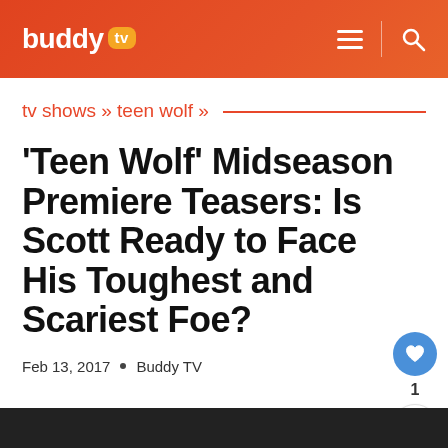buddy tv
tv shows » teen wolf »
'Teen Wolf' Midseason Premiere Teasers: Is Scott Ready to Face His Toughest and Scariest Foe?
Feb 13, 2017  •  Buddy TV